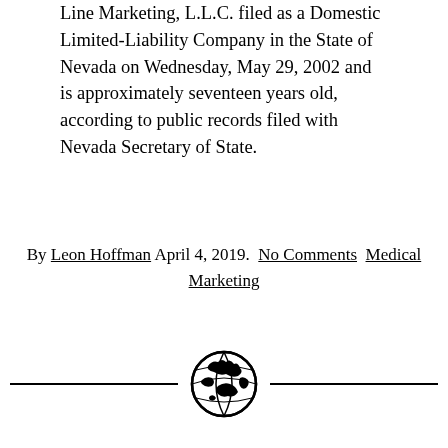Line Marketing, L.L.C. filed as a Domestic Limited-Liability Company in the State of Nevada on Wednesday, May 29, 2002 and is approximately seventeen years old, according to public records filed with Nevada Secretary of State.
By Leon Hoffman April 4, 2019.  No Comments  Medical Marketing
[Figure (illustration): Decorative divider with a globe/earth logo centered between two horizontal lines]